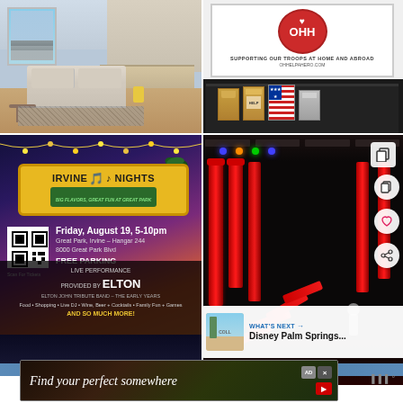[Figure (photo): Hotel/apartment interior room with TV, cabinet, sofa, hardwood floor, and city window view]
[Figure (photo): Operation Help a Hero table display with branded sign reading 'Supporting Our Troops at Home and Abroad' and ohihelpahero.com, with gift bags on a black tablecloth]
[Figure (infographic): Irvine Nights event flyer. Yellow badge logo reading 'IRVINE NIGHTS' with treble clef and music notes. Subtitle: 'BIG FLAVORS, GREAT FUN AT GREAT PARK'. Date: Friday, August 19, 5-10pm. Location: Great Park, Irvine - Hangar 244, 8000 Great Park Blvd. FREE PARKING. Live performance provided by Elton (Elton John Tribute Band - The Early Years). Food, Shopping, Live DJ, Wine, Beer + Cocktails, Family Fun + Games. AND SO MUCH MORE!]
[Figure (photo): Indoor ninja/action gym with red padded poles, obstacle course elements, colorful LED lighting, and a person navigating the course]
[Figure (screenshot): What's Next recommendation panel showing 'Disney Palm Springs...' with thumbnail and navigation arrow]
[Figure (photo): Dark bottom section showing palm trees against blue sky]
[Figure (screenshot): Advertisement banner reading 'Find your perfect somewhere' with ad icons and media player controls]